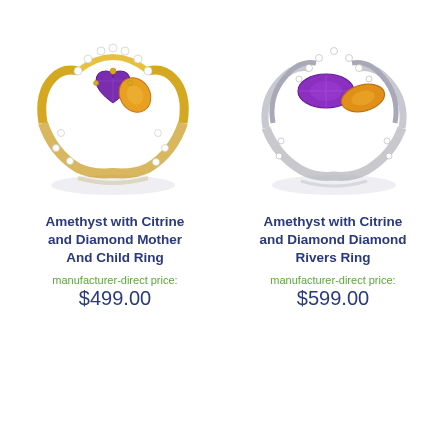[Figure (photo): Gold ring with purple amethyst heart stone and yellow citrine stone, surrounded by diamonds]
[Figure (photo): Silver ring with marquise-cut purple amethyst and yellow citrine stone, surrounded by diamonds in a twisted band design]
Amethyst with Citrine and Diamond Mother And Child Ring
manufacturer-direct price:
$499.00
Amethyst with Citrine and Diamond Diamond Rivers Ring
manufacturer-direct price:
$599.00